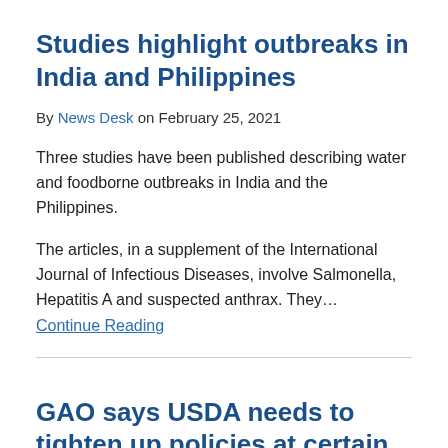Studies highlight outbreaks in India and Philippines
By News Desk on February 25, 2021
Three studies have been published describing water and foodborne outbreaks in India and the Philippines.
The articles, in a supplement of the International Journal of Infectious Diseases, involve Salmonella, Hepatitis A and suspected anthrax. They… Continue Reading
GAO says USDA needs to tighten up policies at certain labs